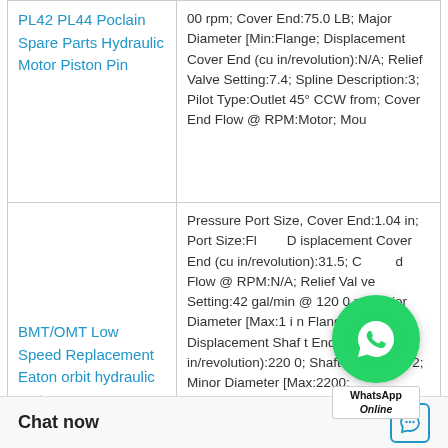| Product | Specifications |
| --- | --- |
| PL42 PL44 Poclain Spare Parts Hydraulic Motor Piston Pin | 00 rpm; Cover End:75.0 LB; Major Diameter [Min:Flange; Displacement Cover End (cu in/revolution):N/A; Relief Valve Setting:7.4; Spline Description:3; Pilot Type:Outlet 45° CCW from; Cover End Flow @ RPM:Motor; Mou |
| BMT/OMT Low Speed Replacement Eaton orbit hydraulic motor | Pressure Port Size, Cover End:1.04 in; Port Size:Fl; Displacement Cover End (cu in/revolution):31.5; Cover End Flow @ RPM:N/A; Relief Valve Setting:42 gal/min @ 1200 rp; Major Diameter [Max:1 in Flange; Displacement Shaft End (cu in/revolution):2200; Shaft Length:3 1/2; Minor Diameter [Max:2200; |
[Figure (other): WhatsApp Online floating button overlay with green circle icon and 'WhatsApp Online' label]
Chat now